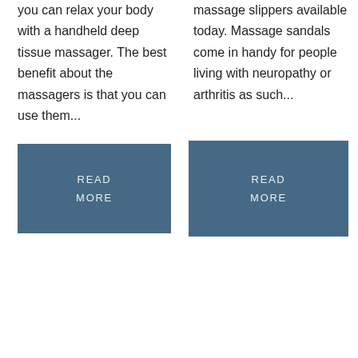you can relax your body with a handheld deep tissue massager. The best benefit about the massagers is that you can use them...
massage slippers available today. Massage sandals come in handy for people living with neuropathy or arthritis as such...
[Figure (other): Blue READ MORE button, left column]
[Figure (other): Blue READ MORE button, right column]